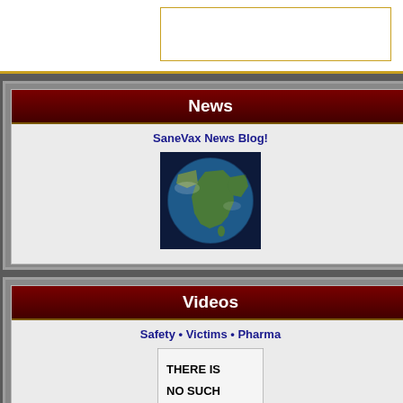[Figure (screenshot): Top white header bar with gold border and an empty bordered box on the right side]
News
SaneVax News Blog!
[Figure (photo): Globe image showing South Asia / Indian subcontinent from space]
Videos
Safety • Victims • Pharma
[Figure (illustration): Sign reading: THERE IS NO SUCH THING AS A GENETIC EPIDEMIC. with GENETIC in red text]